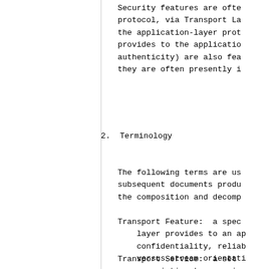Security features are ofte protocol, via Transport La the application-layer prot provides to the applicatio authenticity) are also fea they are often presently i
2.  Terminology
The following terms are us subsequent documents produ the composition and decomp
Transport Feature:  a spec layer provides to an ap confidentiality, reliab versus-stream orientati
Transport Service:  a set association to any give